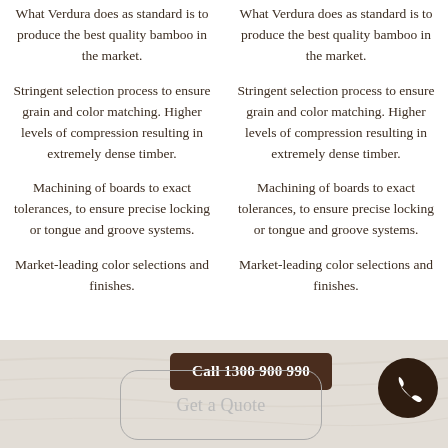What Verdura does as standard is to produce the best quality bamboo in the market.
What Verdura does as standard is to produce the best quality bamboo in the market.
Stringent selection process to ensure grain and color matching. Higher levels of compression resulting in extremely dense timber.
Stringent selection process to ensure grain and color matching. Higher levels of compression resulting in extremely dense timber.
Machining of boards to exact tolerances, to ensure precise locking or tongue and groove systems.
Machining of boards to exact tolerances, to ensure precise locking or tongue and groove systems.
Market-leading color selections and finishes.
Market-leading color selections and finishes.
Call 1300 900 990
Get a Quote